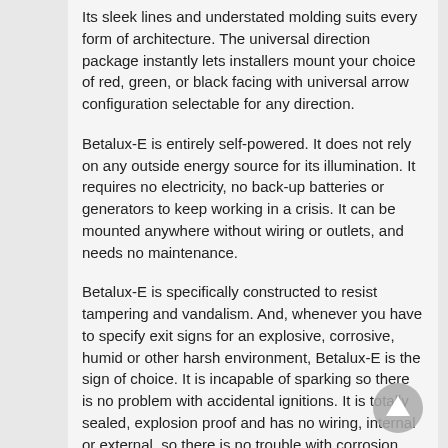Its sleek lines and understated molding suits every form of architecture. The universal direction package instantly lets installers mount your choice of red, green, or black facing with universal arrow configuration selectable for any direction.
Betalux-E is entirely self-powered. It does not rely on any outside energy source for its illumination. It requires no electricity, no back-up batteries or generators to keep working in a crisis. It can be mounted anywhere without wiring or outlets, and needs no maintenance.
Betalux-E is specifically constructed to resist tampering and vandalism. And, whenever you have to specify exit signs for an explosive, corrosive, humid or other harsh environment, Betalux-E is the sign of choice. It is incapable of sparking so there is no problem with accidental ignitions. It is totally sealed, explosion proof and has no wiring, internal or external, so there is no trouble with corrosion, mold, or vapor invasion.
When you specify Betalux-E self-luminous exit signs, you can be sure that you have done everything possible to assure safe, continuous, well illuminated emergency lighting for all building occupants now and well into the future